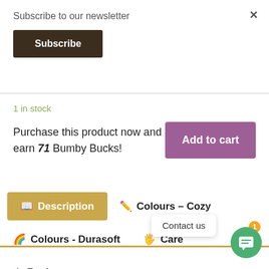Subscribe to our newsletter
Subscribe
1 in stock
Purchase this product now and earn 71 Bumby Bucks!
Add to cart
Description
Colours – Cozy
Colours - Durasoft
Care
Reviews
Contact us